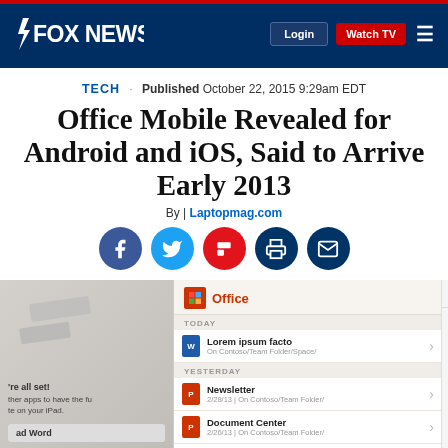FOX NEWS | Login | Watch TV
TECH · Published October 22, 2015 9:29am EDT
Office Mobile Revealed for Android and iOS, Said to Arrive Early 2013
By | Laptopmag.com
[Figure (illustration): Social share icons: Facebook, Twitter, Flipboard, Print, Email]
[Figure (screenshot): Screenshot of Office Mobile app interface showing document list and subscription screen]